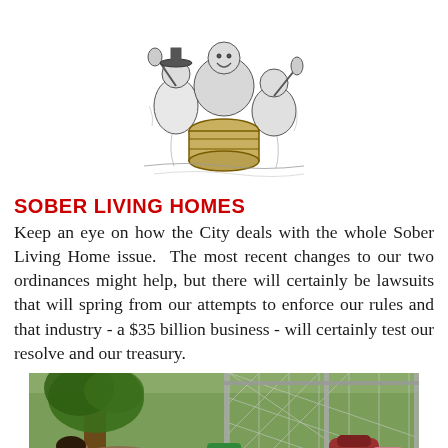[Figure (illustration): Black and white pen-and-ink illustration of people drinking and celebrating, including a figure in a top hat raising a glass]
SOBER LIVING HOMES
Keep an eye on how the City deals with the whole Sober Living Home issue.  The most recent changes to our two ordinances might help, but there will certainly be lawsuits that will spring from our attempts to enforce our rules and that industry - a $35 billion business - will certainly test our resolve and our treasury.
[Figure (photo): Outdoor photograph showing a person resting near a tree with bags and belongings scattered on the ground near a chain-link fence and sports field]